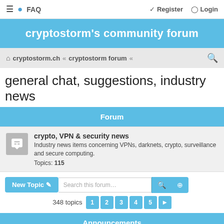≡ FAQ   Register Login
cryptostorm's community forum
cryptostorm.ch · cryptostorm forum ·
general chat, suggestions, industry news
Forum
crypto, VPN & security news
Industry news items concerning VPNs, darknets, crypto, surveillance and secure computing.
Topics: 115
New Topic   Search this forum…
348 topics 1 2 3 4 5 ▶
Announcements
Cryptostorm network - news
Last post by benjonas222 « Mon Jul 25, 2022 6:25 pm
Posted in member support & tech assistance
Replies: 40